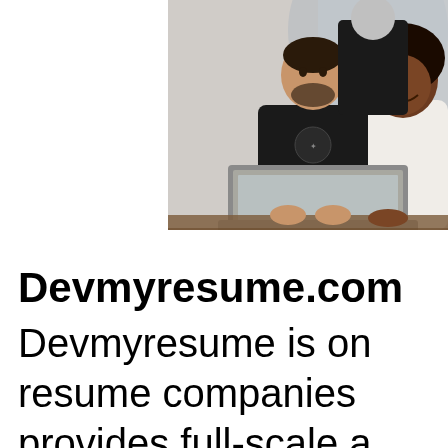[Figure (photo): Three people working together around a laptop computer. A man in a black t-shirt sits in the center, a woman with natural hair sits on the right smiling, and another person stands behind them. The setting appears to be a modern office or collaborative workspace.]
Devmyresume.com
Devmyresume is one of the top resume companies that provides full-scale a